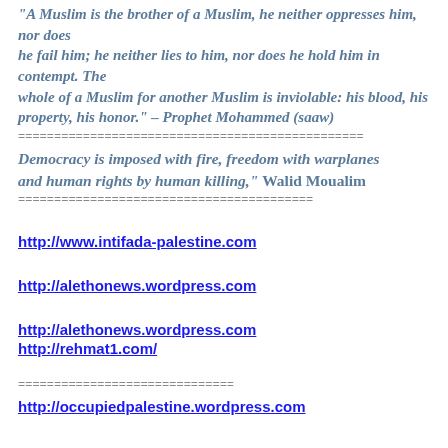"A Muslim is the brother of a Muslim, he neither oppresses him, nor does he fail him; he neither lies to him, nor does he hold him in contempt. The whole of a Muslim for another Muslim is inviolable: his blood, his property, his honor." – Prophet Mohammed (saaw)
================================================
Democracy is imposed with fire, freedom with warplanes and human rights by human killing,"  Walid Moualim
=========================================
http://www.intifada-palestine.com
http://alethonews.wordpress.com
http://alethonews.wordpress.com
http://rehmat1.com/
==============================
http://occupiedpalestine.wordpress.com